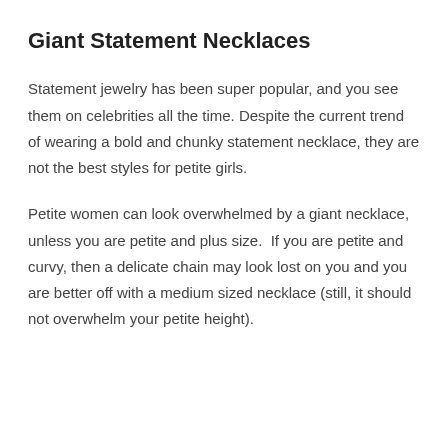Giant Statement Necklaces
Statement jewelry has been super popular, and you see them on celebrities all the time. Despite the current trend of wearing a bold and chunky statement necklace, they are not the best styles for petite girls.
Petite women can look overwhelmed by a giant necklace, unless you are petite and plus size.  If you are petite and curvy, then a delicate chain may look lost on you and you are better off with a medium sized necklace (still, it should not overwhelm your petite height).